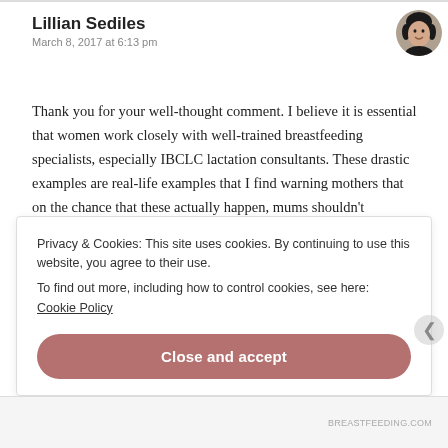Lillian Sediles
March 8, 2017 at 6:13 pm
Thank you for your well-thought comment. I believe it is essential that women work closely with well-trained breastfeeding specialists, especially IBCLC lactation consultants. These drastic examples are real-life examples that I find warning mothers that on the chance that these actually happen, mums shouldn’t immediately think they’re failing, that they cannot breastfeed, or
Privacy & Cookies: This site uses cookies. By continuing to use this website, you agree to their use.
To find out more, including how to control cookies, see here: Cookie Policy
Close and accept